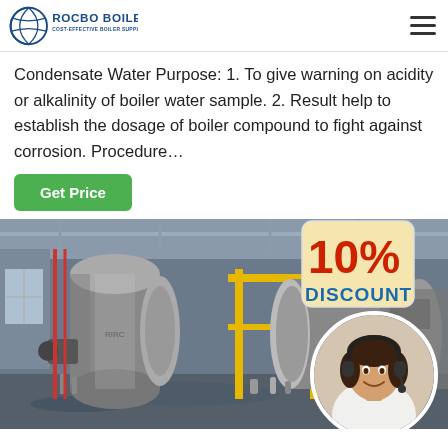ROCBO BOILER - COST-EFFECTIVE BOILER SUPPLIER
Condensate Water Purpose: 1. To give warning on acidity or alkalinity of boiler water sample. 2. Result help to establish the dosage of boiler compound to fight against corrosion. Procedure…
[Figure (photo): Industrial boiler facility with large cylindrical boilers, yellow piping framework, and a 10% discount badge overlay with a customer service agent in a circular frame]
Get Price button and promotional imagery for Rocbo Boiler